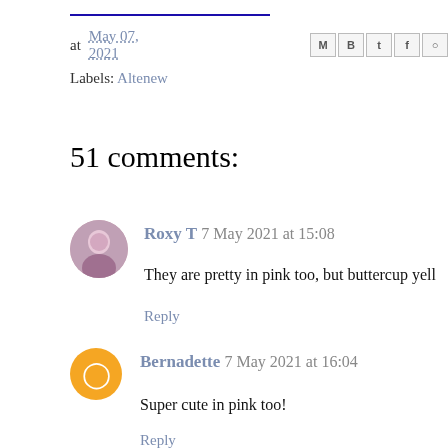at May 07, 2021
Labels: Altenew
51 comments:
Roxy T 7 May 2021 at 15:08
They are pretty in pink too, but buttercup yell
Reply
Bernadette 7 May 2021 at 16:04
Super cute in pink too!
Reply